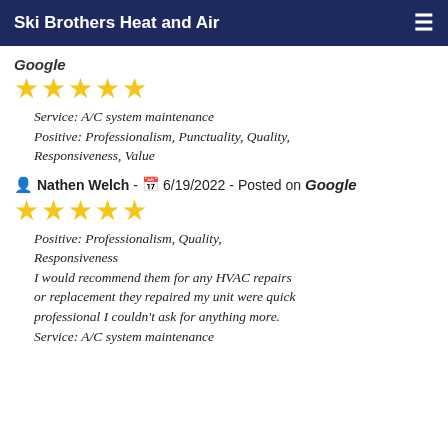Ski Brothers Heat and Air
Google
[Figure (other): 5 gold stars rating]
Service: A/C system maintenance
Positive: Professionalism, Punctuality, Quality, Responsiveness, Value
Nathen Welch - 6/19/2022 - Posted on Google
[Figure (other): 5 gold stars rating]
Positive: Professionalism, Quality, Responsiveness
I would recommend them for any HVAC repairs or replacement they repaired my unit were quick professional I couldn't ask for anything more.
Service: A/C system maintenance